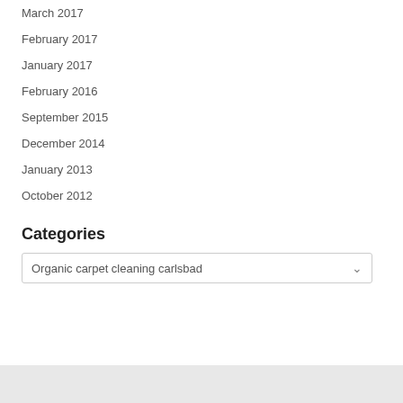March 2017
February 2017
January 2017
February 2016
September 2015
December 2014
January 2013
October 2012
Categories
Organic carpet cleaning carlsbad